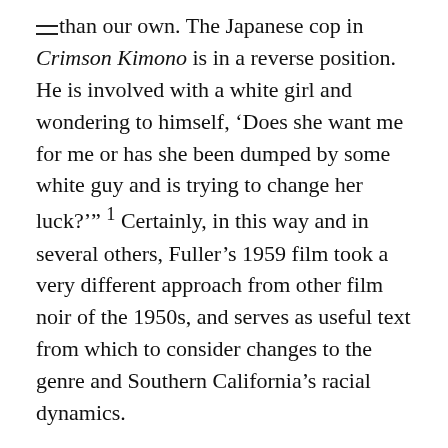than our own. The Japanese cop in Crimson Kimono is in a reverse position. He is involved with a white girl and wondering to himself, ‘Does she want me for me or has she been dumped by some white guy and is trying to change her luck?’” ¹ Certainly, in this way and in several others, Fuller’s 1959 film took a very different approach from other film noir of the 1950s, and serves as useful text from which to consider changes to the genre and Southern California’s racial dynamics.
In its early years just after WWII, film noir depicted the racial and sexual anxieties confronting urban America. “While law enforcement in Los Angeles and other American cities of the 1940s policed the city’s racially mixed venues in their efforts to fortify the boundaries between whiteness and non-whiteness,” notes cultural historian Eric Avila, “film noir sided with the law, implicating the city for its betrayal of a …”²